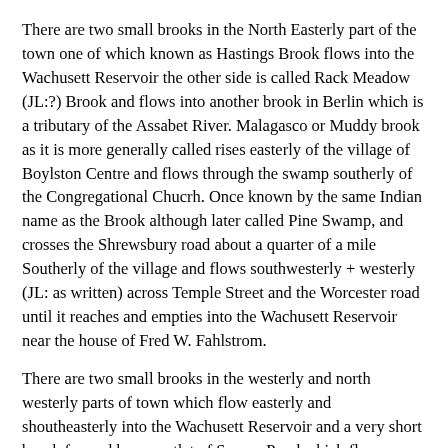There are two small brooks in the North Easterly part of the town one of which known as Hastings Brook flows into the Wachusett Reservoir the other side is called Rack Meadow (JL:?) Brook and flows into another brook in Berlin which is a tributary of the Assabet River. Malagasco or Muddy brook as it is more generally called rises easterly of the village of Boylston Centre and flows through the swamp southerly of the Congregational Chucrh. Once known by the same Indian name as the Brook although later called Pine Swamp, and crosses the Shrewsbury road about a quarter of a mile Southerly of the village and flows southwesterly + westerly (JL: as written) across Temple Street and the Worcester road until it reaches and empties into the Wachusett Reservoir near the house of Fred W. Fahlstrom.
There are two small brooks in the westerly and north westerly parts of town which flow easterly and shoutheasterly into the Wachusett Reservoir and a very short brook formed by an outlet of Spruce Pond which flows through Sewall Pond and on into Mud Pond.
10 Waterfall